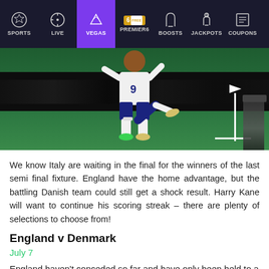SPORTS | LIVE | VEGAS | PREMIER6 | BOOSTS | JACKPOTS | COUPONS
[Figure (photo): Football player wearing number 9 jersey (England kit, white top, dark shorts) celebrating or in motion on a football pitch, with a corner flag visible on the right. Photographers and green LED advertising boards visible in the background.]
We know Italy are waiting in the final for the winners of the last semi final fixture. England have the home advantage, but the battling Danish team could still get a shock result. Harry Kane will want to continue his scoring streak – there are plenty of selections to choose from!
England v Denmark
July 7
England haven't conceded so far and have only been held to a draw by Scotland. A very impressive 4-0 win over Ukraine in